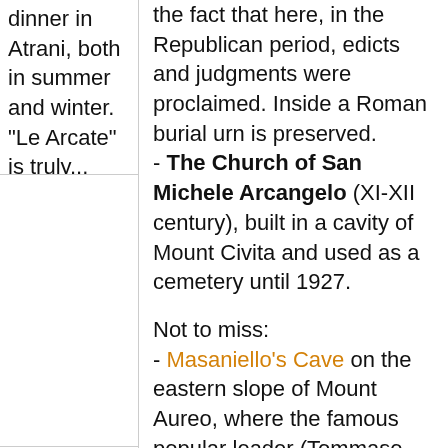dinner in Atrani, both in summer and winter. "Le Arcate" is truly...
the fact that here, in the Republican period, edicts and judgments were proclaimed. Inside a Roman burial urn is preserved.
- The Church of San Michele Arcangelo (XI-XII century), built in a cavity of Mount Civita and used as a cemetery until 1927.

Not to miss:
- Masaniello's Cave on the eastern slope of Mount Aureo, where the famous popular leader (Tommaso Aniello d'Amalfi) sheltered, after the Neapolitan insurrection against the Spanish Government in 1647. The mother's home of the famous revolutionary was historically situated not too far from the cave.
- The Grotto of the Saints, not far from the Torre dello Ziro...